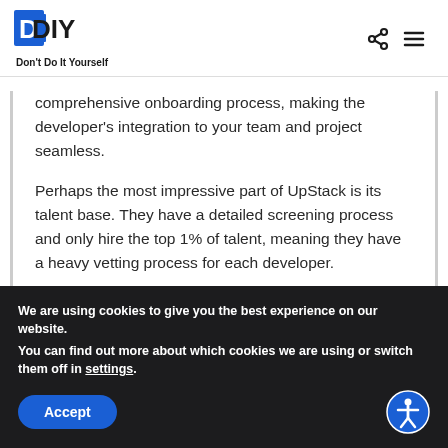DDIY Don't Do It Yourself
comprehensive onboarding process, making the developer's integration to your team and project seamless.
Perhaps the most impressive part of UpStack is its talent base. They have a detailed screening process and only hire the top 1% of talent, meaning they have a heavy vetting process for each developer.
Some of the programming languages and fields that UpStack developers are specialized in:
We are using cookies to give you the best experience on our website.
You can find out more about which cookies we are using or switch them off in settings.